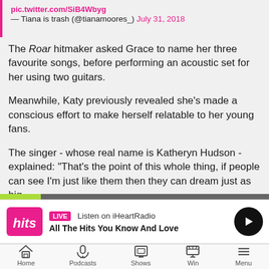— Tiana is trash (@tianamoores_) July 31, 2018
The Roar hitmaker asked Grace to name her three favourite songs, before performing an acoustic set for her using two guitars.
Meanwhile, Katy previously revealed she's made a conscious effort to make herself relatable to her young fans.
The singer - whose real name is Katheryn Hudson - explained: "That's the point of this whole thing, if people can see I'm just like them then they can dream just as big.
"I'm a bit more nerdy than everybody thinks I am, I'm a big goofball. The fantasy of Katheryn went into Katy and made this bigger than life personality."
[Figure (other): Audio progress bar with green fill on left and grey fill on right]
[Figure (logo): Hits radio logo with LIVE badge, Listen on iHeartRadio, All The Hits You Know And Love, and play button]
[Figure (other): Mobile navigation bar with Home, Podcasts, Shows, Win, Menu icons]